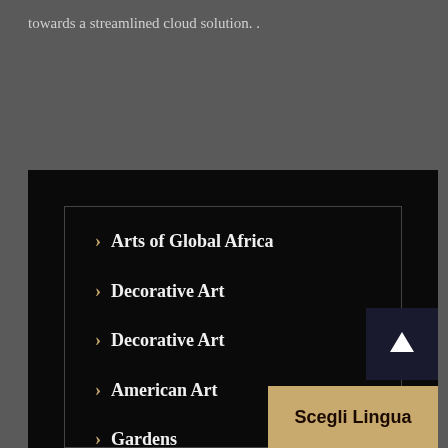towards a streamlined cloud solution. .
Arts of Global Africa
Decorative Art
Decorative Art
American Art
Gardens
Arts of Canada